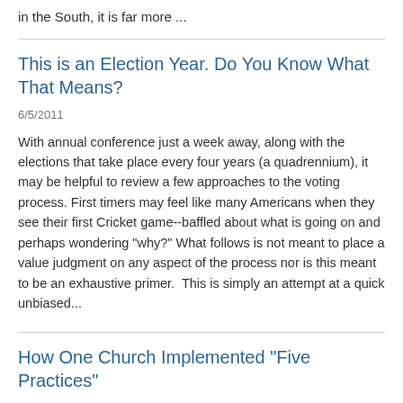in the South, it is far more ...
This is an Election Year. Do You Know What That Means?
6/5/2011
With annual conference just a week away, along with the elections that take place every four years (a quadrennium), it may be helpful to review a few approaches to the voting process. First timers may feel like many Americans when they see their first Cricket game--baffled about what is going on and perhaps wondering "why?" What follows is not meant to place a value judgment on any aspect of the process nor is this meant to be an exhaustive primer.  This is simply an attempt at a quick unbiased...
How One Church Implemented "Five Practices"
4/25/2011
I asked Nanci Hicks to share how her church is implementing